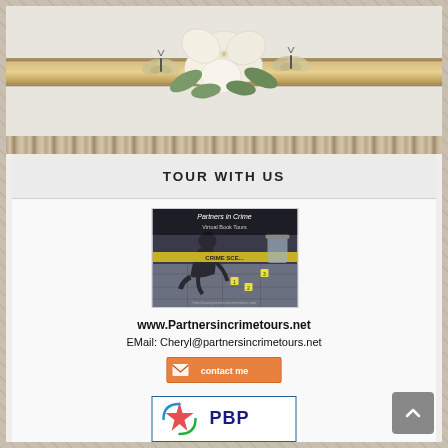[Figure (illustration): Decorative top banner with white/cream flowers and butterflies on a horizontal striped bar]
TOUR WITH US
[Figure (photo): Partners in Crime Virtual Book Tours image showing a person at a crime scene, with text overlay 'Partners in Crime Virtual Book Tours' and 'CRIME SCENE' tape, and URL http://www.partnersincrimetours.net/]
www.Partnersincrimetours.net
EMail: Cheryl@partnersincrimetours.net
[Figure (illustration): Orange/pink 'contact me' button with envelope icon]
[Figure (logo): PBP logo with colorful star/figure design and 'PBP' text]